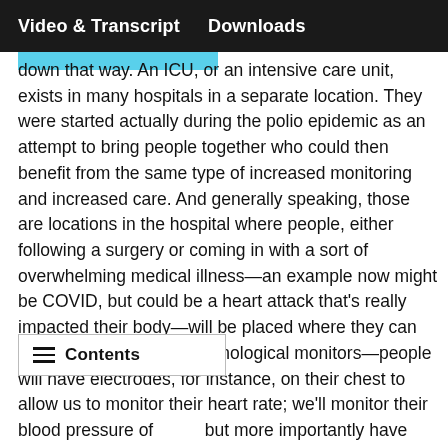Video & Transcript    Downloads
down that way. An ICU, or an intensive care unit, exists in many hospitals in a separate location. They were started actually during the polio epidemic as an attempt to bring people together who could then benefit from the same type of increased monitoring and increased care. And generally speaking, those are locations in the hospital where people, either following a surgery or coming in with a sort of overwhelming medical illness—an example now might be COVID, but could be a heart attack that's really impacted their body—will be placed where they can be monitored both by technological monitors—people will have electrodes, for instance, on their chest to allow us to monitor their heart rate; we'll monitor their blood pressure of that—but more importantly have very ans, particularly nursing staff, who have only that patient or maybe one other patient that they're usually responsible for, which allows them to